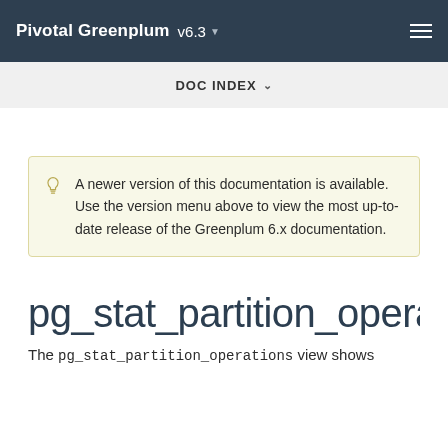Pivotal Greenplum v6.3
DOC INDEX
A newer version of this documentation is available. Use the version menu above to view the most up-to-date release of the Greenplum 6.x documentation.
pg_stat_partition_operatio
The pg_stat_partition_operations view shows